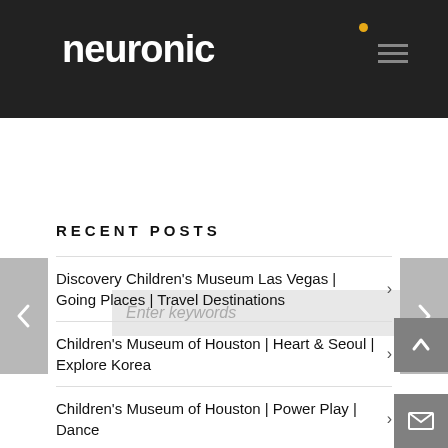neuronic
Enter keywords
RECENT POSTS
Discovery Children's Museum Las Vegas | Going Places | Travel Destinations
Children's Museum of Houston | Heart & Seoul | Explore Korea
Children's Museum of Houston | Power Play | Dance
American Museum of Natural History | Our Senses | Platypus
The Clay Center for the Arts & Sciences | My Town | Put Out The Fire